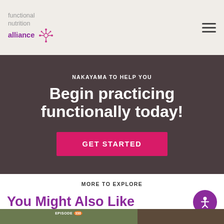functional nutrition alliance
NAKAYAMA TO HELP YOU
Begin practicing functionally today!
GET STARTED
MORE TO EXPLORE
You Might Also Like
[Figure (photo): Bottom image strip showing episode card with EPISODE 330 badge on a nature/hands photo and a dark card beside it]